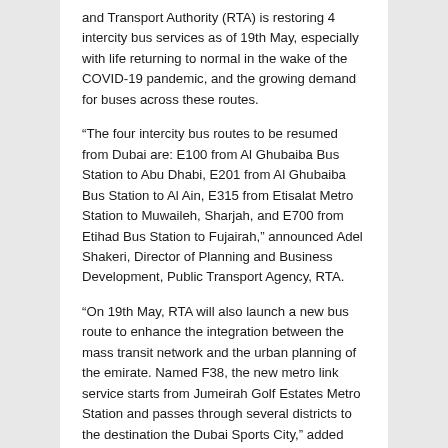and Transport Authority (RTA) is restoring 4 intercity bus services as of 19th May, especially with life returning to normal in the wake of the COVID-19 pandemic, and the growing demand for buses across these routes.
“The four intercity bus routes to be resumed from Dubai are: E100 from Al Ghubaiba Bus Station to Abu Dhabi, E201 from Al Ghubaiba Bus Station to Al Ain, E315 from Etisalat Metro Station to Muwaileh, Sharjah, and E700 from Etihad Bus Station to Fujairah,” announced Adel Shakeri, Director of Planning and Business Development, Public Transport Agency, RTA.
“On 19th May, RTA will also launch a new bus route to enhance the integration between the mass transit network and the urban planning of the emirate. Named F38, the new metro link service starts from Jumeirah Golf Estates Metro Station and passes through several districts to the destination the Dubai Sports City,” added Shakeri.